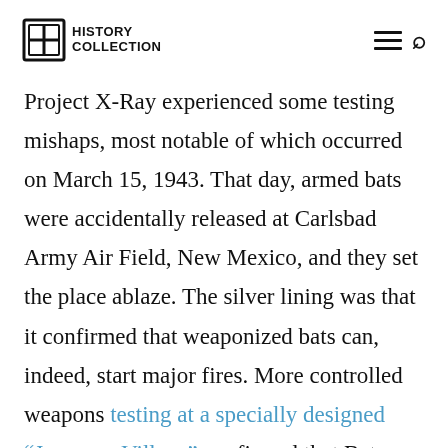HISTORY COLLECTION
Project X-Ray experienced some testing mishaps, most notable of which occurred on March 15, 1943. That day, armed bats were accidentally released at Carlsbad Army Air Field, New Mexico, and they set the place ablaze. The silver lining was that it confirmed that weaponized bats can, indeed, start major fires. More controlled weapons testing at a specially designed “Japanese Village” confirmed that Bat Bombs were, pound for pound, between 11 to 21 times more effective than